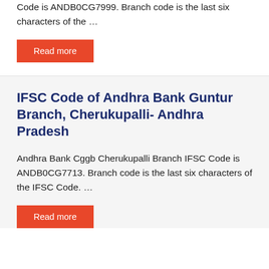Code is ANDB0CG7999. Branch code is the last six characters of the …
Read more
IFSC Code of Andhra Bank Guntur Branch, Cherukupalli- Andhra Pradesh
Andhra Bank Cggb Cherukupalli Branch IFSC Code is ANDB0CG7713. Branch code is the last six characters of the IFSC Code. …
Read more